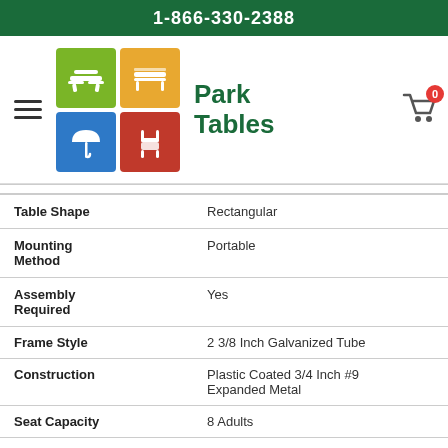1-866-330-2388
[Figure (logo): Park Tables website logo with four colored icon tiles (green picnic table, orange bench, blue umbrella, red chair) and site title 'Park Tables' in dark green]
| Table Shape | Rectangular |
| Mounting Method | Portable |
| Assembly Required | Yes |
| Frame Style | 2 3/8 Inch Galvanized Tube |
| Construction | Plastic Coated 3/4 Inch #9 Expanded Metal |
| Seat Capacity | 8 Adults |